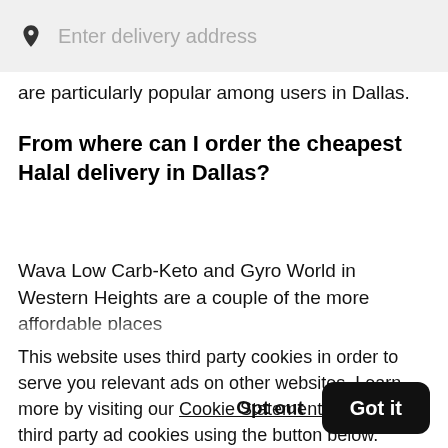Enter delivery address
are particularly popular among users in Dallas.
From where can I order the cheapest Halal delivery in Dallas?
Wava Low Carb-Keto and Gyro World in Western Heights are a couple of the more affordable places
This website uses third party cookies in order to serve you relevant ads on other websites. Learn more by visiting our Cookie Statement, or opt out of third party ad cookies using the button below.
Opt out  Got it